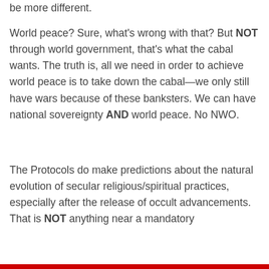be more different.
World peace? Sure, what's wrong with that? But NOT through world government, that's what the cabal wants. The truth is, all we need in order to achieve world peace is to take down the cabal—we only still have wars because of these banksters. We can have national sovereignty AND world peace. No NWO.
The Protocols do make predictions about the natural evolution of secular religious/spiritual practices, especially after the release of occult advancements. That is NOT anything near a mandatory